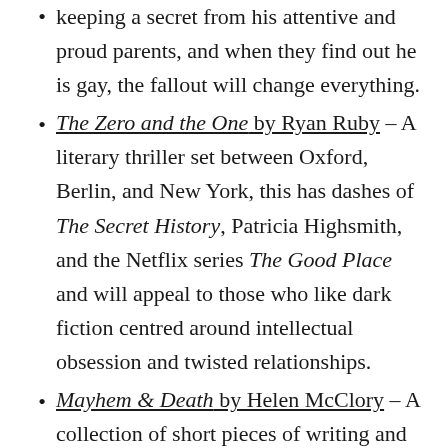keeping a secret from his attentive and proud parents, and when they find out he is gay, the fallout will change everything.
The Zero and the One by Ryan Ruby – A literary thriller set between Oxford, Berlin, and New York, this has dashes of The Secret History, Patricia Highsmith, and the Netflix series The Good Place and will appeal to those who like dark fiction centred around intellectual obsession and twisted relationships.
Mayhem & Death by Helen McClory – A collection of short pieces of writing and one novella which are filled with mystery, sea, birds, gothic, and irregularity. Read for the atmosphere, a fantastic poem about loneliness, and the sense of short writing that is exciting and fresh.
The Trick To Time by Kit de Waal – After My Name